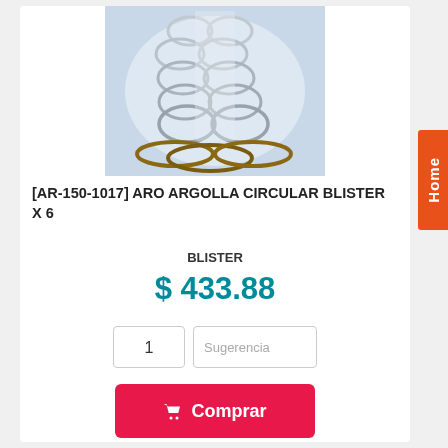[Figure (photo): Product photo showing silver and gold/bronze circular hoop earrings arranged on a display stand against a light blue background.]
[AR-150-1017] ARO ARGOLLA CIRCULAR BLISTER X 6
BLISTER
$ 433.88
1
Sugerencia
Comprar